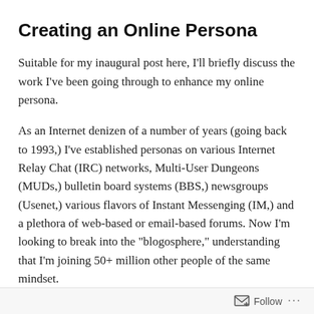Creating an Online Persona
Suitable for my inaugural post here, I’ll briefly discuss the work I’ve been going through to enhance my online persona.
As an Internet denizen of a number of years (going back to 1993,) I’ve established personas on various Internet Relay Chat (IRC) networks, Multi-User Dungeons (MUDs,) bulletin board systems (BBS,) newsgroups (Usenet,) various flavors of Instant Messenging (IM,) and a plethora of web-based or email-based forums. Now I’m looking to break into the “blogosphere,” understanding that I’m joining 50+ million other people of the same mindset.
But, the web log phenomenon seems an outgrowth of the original personal website movement, which started for me in
Follow